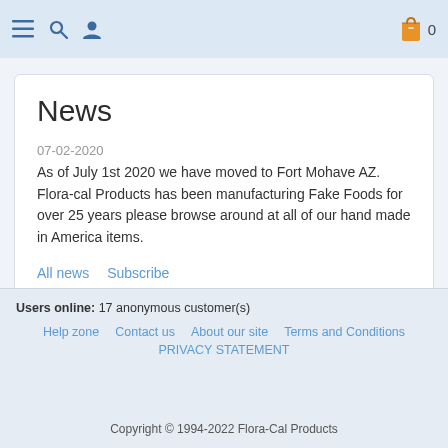Navigation bar with menu, search, user icons and cart (0 items)
News
07-02-2020
As of July 1st 2020 we have moved to Fort Mohave AZ. Flora-cal Products has been manufacturing Fake Foods for over 25 years please browse around at all of our hand made in America items.
All news   Subscribe
Users online: 17 anonymous customer(s)
Help zone   Contact us   About our site   Terms and Conditions
PRIVACY STATEMENT
Copyright © 1994-2022 Flora-Cal Products